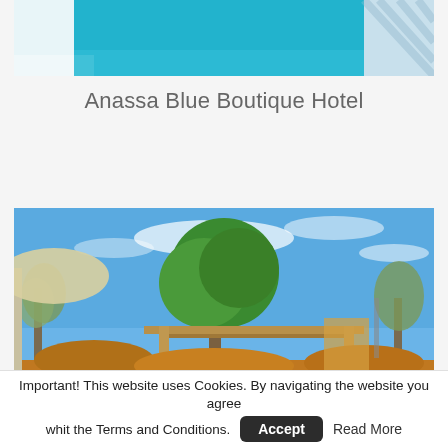[Figure (photo): Partial view of a blue swimming pool with white edges and mosaic tile border on the right side]
Anassa Blue Boutique Hotel
[Figure (photo): Outdoor garden area with olive trees, a large green leafy tree, wooden pergola structure, blue sky with light clouds, sun umbrella on left, and structures in background]
Important! This website uses Cookies. By navigating the website you agree whit the Terms and Conditions.  Accept  Read More